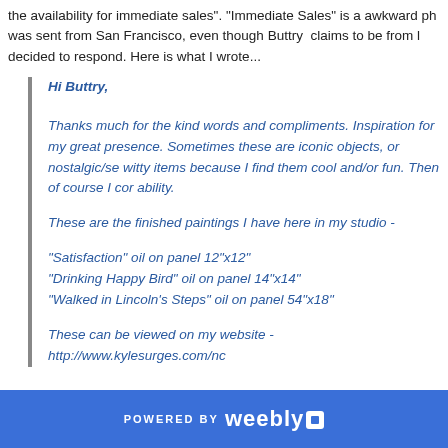the availability for immediate sales". "Immediate Sales" is a awkward ph was sent from San Francisco, even though Buttry claims to be from l decided to respond. Here is what I wrote...
Hi Buttry,
Thanks much for the kind words and compliments. Inspiration for my great presence. Sometimes these are iconic objects, or nostalgic/se witty items because I find them cool and/or fun. Then of course I cor ability.
These are the finished paintings I have here in my studio -
"Satisfaction" oil on panel 12"x12"
"Drinking Happy Bird" oil on panel 14"x14"
"Walked in Lincoln's Steps" oil on panel 54"x18"
These can be viewed on my website - http://www.kylesurges.com/nc
POWERED BY weebly